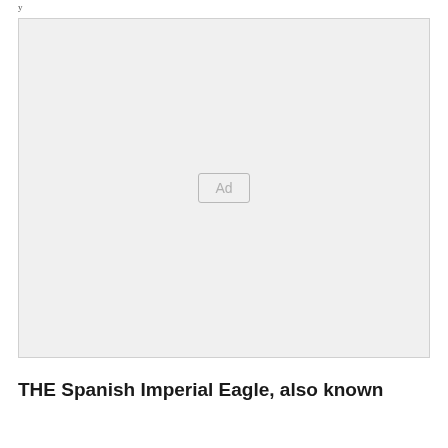y
[Figure (other): Advertisement placeholder box with 'Ad' label centered on a light gray background]
THE Spanish Imperial Eagle, also known